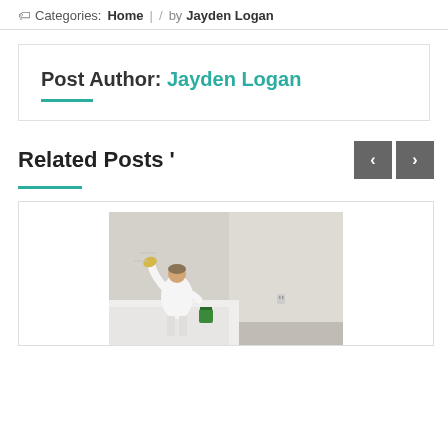Categories: Home | / by Jayden Logan
Post Author: Jayden Logan
Related Posts '
[Figure (photo): A person in white clothes painting or plastering a wall in a room with white walls and covered furniture]